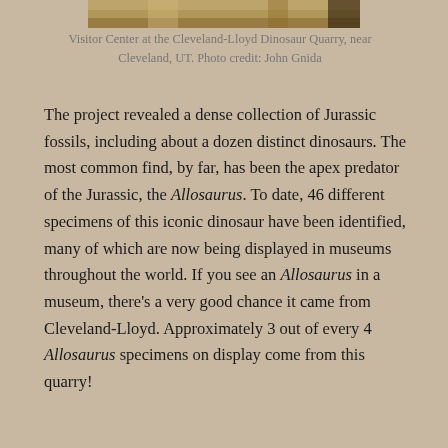[Figure (photo): Top portion of a photo showing the Visitor Center at the Cleveland-Lloyd Dinosaur Quarry near Cleveland, UT. The image is cropped and only the bottom edge is visible.]
Visitor Center at the Cleveland-Lloyd Dinosaur Quarry, near Cleveland, UT.  Photo credit: John Gnida
The project revealed a dense collection of Jurassic fossils, including about a dozen distinct dinosaurs.  The most common find, by far, has been the apex predator of the Jurassic, the Allosaurus.  To date, 46 different specimens of this iconic dinosaur have been identified, many of which are now being displayed in museums throughout the world.  If you see an Allosaurus in a museum, there's a very good chance it came from Cleveland-Lloyd.  Approximately 3 out of every 4 Allosaurus specimens on display come from this quarry!